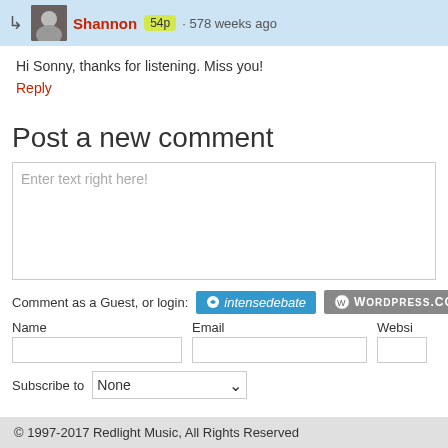Shannon 54p · 578 weeks ago
Hi Sonny, thanks for listening. Miss you!
Reply
Post a new comment
Enter text right here!
Comment as a Guest, or login: intensedebate WORDPRESS.COM
Name
Email
Websi
Subscribe to None
© 1997-2017 Redlight Music, All Rights Reserved